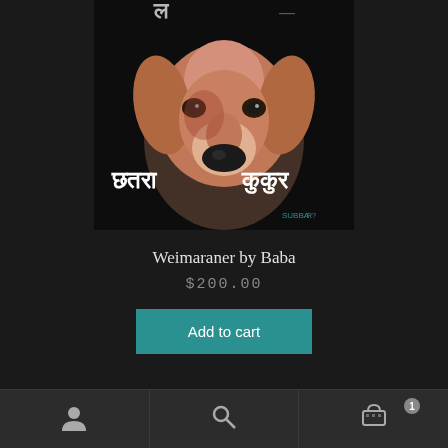[Figure (illustration): Painting of a Weimaraner dog on a black background with Hindi/Devanagari text. The dog has a reddish-brown coat, droopy ears, and a prominent dark nose. White Devanagari script text appears on both sides. Artist signature 'SUBBA' visible in lower right corner.]
Weimaraner by Baba
$200.00
Add to cart